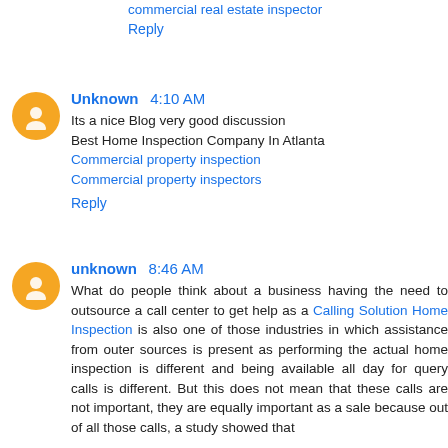commercial real estate inspector
Reply
Unknown 4:10 AM
Its a nice Blog very good discussion
Best Home Inspection Company In Atlanta
Commercial property inspection
Commercial property inspectors
Reply
unknown 8:46 AM
What do people think about a business having the need to outsource a call center to get help as a Calling Solution Home Inspection is also one of those industries in which assistance from outer sources is present as performing the actual home inspection is different and being available all day for query calls is different. But this does not mean that these calls are not important, they are equally important as a sale because out of all those calls, a study showed that